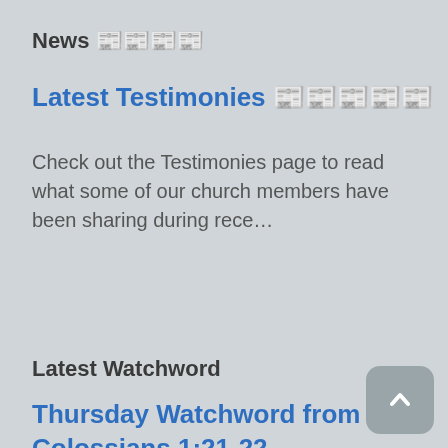News 📰📰📰📰
Latest Testimonies 📰📰📰📰📰
Check out the Testimonies page to read what some of our church members have been sharing during rece…
Read More
Latest Watchword
Thursday Watchword from Colossians 1:21-22